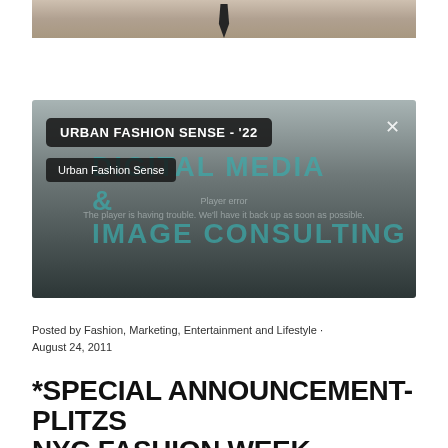[Figure (photo): Top portion of a photo showing what appears to be a tie or dark garment against a light background]
[Figure (screenshot): Embedded video player screenshot showing 'URBAN FASHION SENSE - 22' title label and 'Urban Fashion Sense' subtitle label over a dark overlay with teal 'DIGITAL MEDIA & IMAGE CONSULTING' text watermark. An X close button appears top right.]
Posted by Fashion, Marketing, Entertainment and Lifestyle · August 24, 2011
*SPECIAL ANNOUNCEMENT- PLITZS NYC FASHION WEEK SCHEDULE